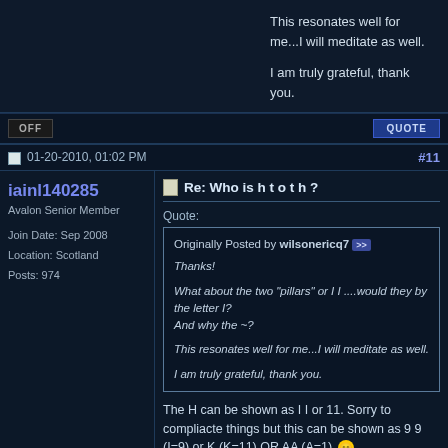This resonates well for me...I will meditate as well.

I am truly grateful, thank you.
OFF    QUOTE
01-20-2010, 01:02 PM    #11
iainl140285
Avalon Senior Member
Join Date: Sep 2008
Location: Scotland
Posts: 974
Re: Who is h t o t h ?
Quote:
Originally Posted by wilsonericq7 >>
Thanks!

What about the two "pillars" or I I ....would they by the letter I?
And why the ~?

This resonates well for me...I will meditate as well.

I am truly grateful, thank you.
The H can be shown as I I or 11. Sorry to compliacte things but this can be shown as 9 9 (I=9) or K (K=11) OR AA (A=1) 😄